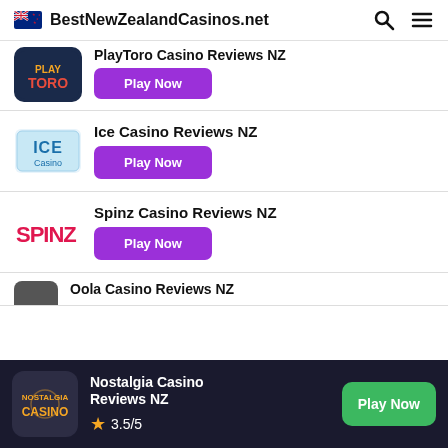BestNewZealandCasinos.net
PlayToro Casino Reviews NZ — Play Now
Ice Casino Reviews NZ — Play Now
Spinz Casino Reviews NZ — Play Now
Nostalgia Casino Reviews NZ — 3.5/5 — Play Now